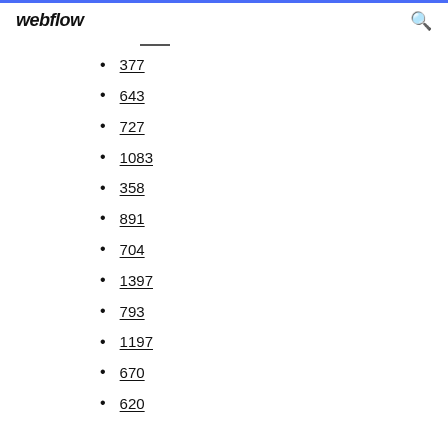webflow
377
643
727
1083
358
891
704
1397
793
1197
670
620